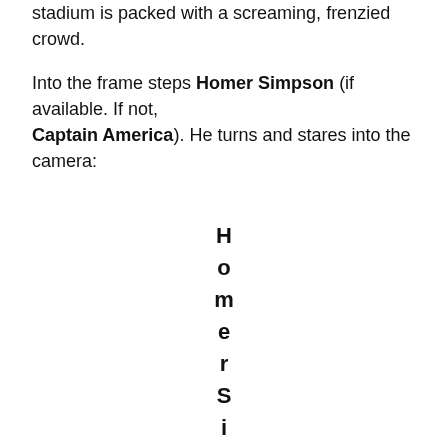stadium is packed with a screaming, frenzied crowd.

 Into the frame steps Homer Simpson (if available. If not, Captain America). He turns and stares into the camera:
H o m e r S i m p s o n